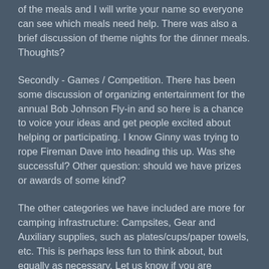of the meals and I will write your name so everyone can see which meals need help. There was also a brief discussion of theme nights for the dinner meals. Thoughts?
Secondly - Games / Competition. There has been some discussion of organizing entertainment for the annual Bob Johnson Fly-in and so here is a chance to voice your ideas and get people excited about helping or participating. I know Ginny was trying to rope Fireman Dave into heading this up. Was she successful? Other question: should we have prizes or awards of some kind?
The other categories we have included are more for camping infrastructure: Campsites, Gear and Auxiliary supplies, such as plates/cups/paper towels, etc. This is perhaps less fun to think about, but equally as necessary. Let us know if you are planning on bringing anything in this area.
Finally – and the one everyone should reply about – an Attendee List. Let us know if you are definitely or